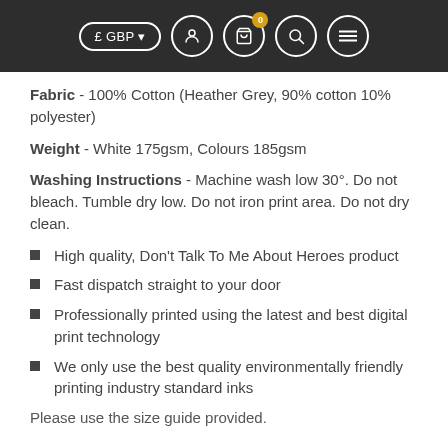£ GBP  [navigation icons]
Fabric - 100% Cotton (Heather Grey, 90% cotton 10% polyester)
Weight - White 175gsm, Colours 185gsm
Washing Instructions - Machine wash low 30°. Do not bleach. Tumble dry low. Do not iron print area. Do not dry clean.
High quality, Don't Talk To Me About Heroes product
Fast dispatch straight to your door
Professionally printed using the latest and best digital print technology
We only use the best quality environmentally friendly printing industry standard inks
Please use the size guide provided.